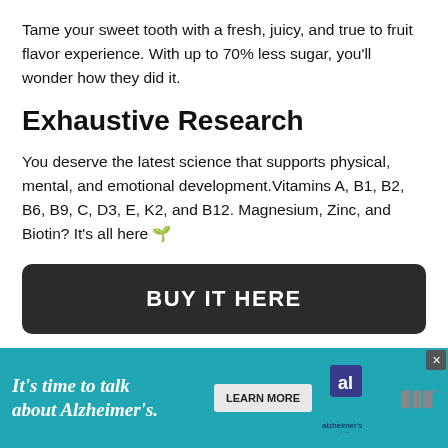Tame your sweet tooth with a fresh, juicy, and true to fruit flavor experience. With up to 70% less sugar, you'll wonder how they did it.
Exhaustive Research
You deserve the latest science that supports physical, mental, and emotional development.Vitamins A, B1, B2, B6, B9, C, D3, E, K2, and B12. Magnesium, Zinc, and Biotin? It's all here 🌿
BUY IT HERE
[Figure (infographic): Alzheimer's Association advertisement banner: 'It's time to talk about Alzheimer's.' with a Learn More button and Alzheimer's Association logo on a teal background.]